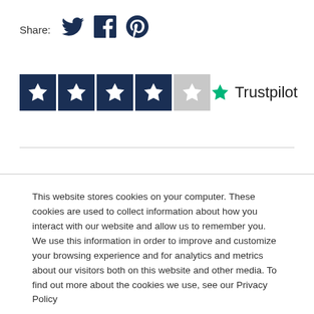Share:
[Figure (illustration): Social share icons: Twitter bird, Facebook f, Pinterest P]
[Figure (illustration): Trustpilot rating: 4 filled dark blue star boxes and 1 empty grey star box, with green Trustpilot star logo and Trustpilot text]
This website stores cookies on your computer. These cookies are used to collect information about how you interact with our website and allow us to remember you. We use this information in order to improve and customize your browsing experience and for analytics and metrics about our visitors both on this website and other media. To find out more about the cookies we use, see our Privacy Policy
Accept